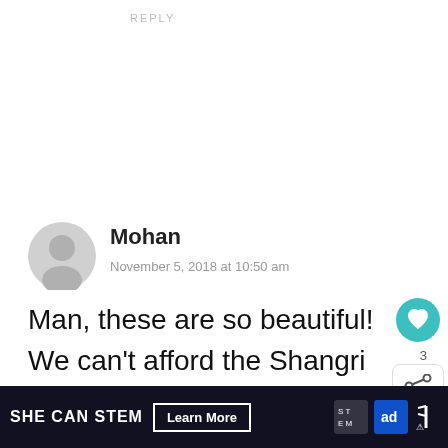REPLY
Mohan
November 5, 2018 at 10:50 am
Man, these are so beautiful! We can't afford the Shangri La hotel Eiffel Tower but these look like great alternatives! These are just the perfect h... T...
[Figure (screenshot): WHAT'S NEXT panel showing Top 18 Hotels With A View promotion with thumbnail image]
[Figure (screenshot): Advertisement bar: SHE CAN STEM with Learn More button and Ad Council logos]